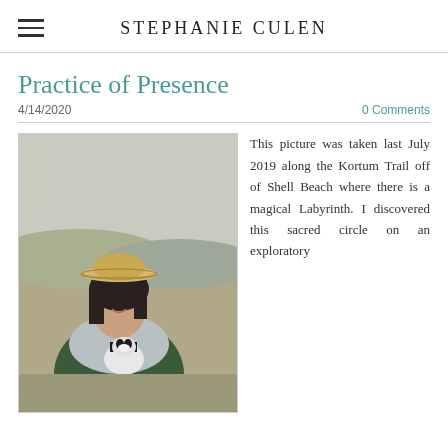STEPHANIE CULEN
Practice of Presence
4/14/2020
0 Comments
[Figure (photo): Woman wearing a cowboy hat and grey scarf, smiling, holding a small black and white dog, outdoors on a trail with misty background]
This picture was taken last July 2019 along the Kortum Trail off of Shell Beach where there is a magical Labyrinth. I discovered this sacred circle on an exploratory